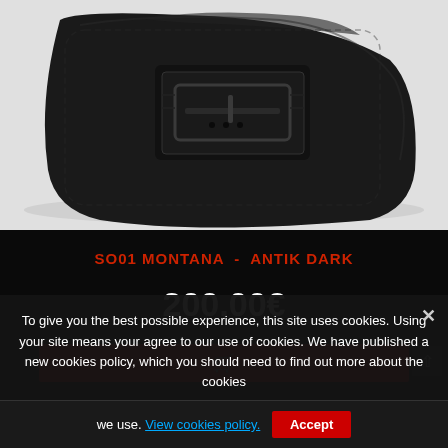[Figure (photo): Close-up photo of a black leather motorcycle saddlebag (SO01 Montana Antik Dark) with a buckle strap detail, on a white background.]
SO01 MONTANA - ANTIK DARK
200,00€
To give you the best possible experience, this site uses cookies. Using your site means your agree to our use of cookies. We have published a new cookies policy, which you should need to find out more about the cookies we use. View cookies policy.
Accept